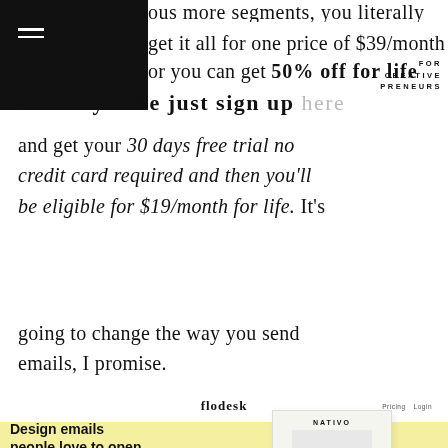ous more segments, you literally get it all for one price of $39/month or you can get 50% off for life with my code just sign up here and get your 30 days free trial no credit card required and then you'll be eligible for $19/month for life. It's going to change the way you send emails, I promise.
[Figure (screenshot): Screenshot of Flodesk website with logo, navigation links (Pricing, Login), yellow background, white panel with text 'Design emails people love to open.' and small tagline, Try it free button, and a NATIVO branded email template card featuring a woman's photo]